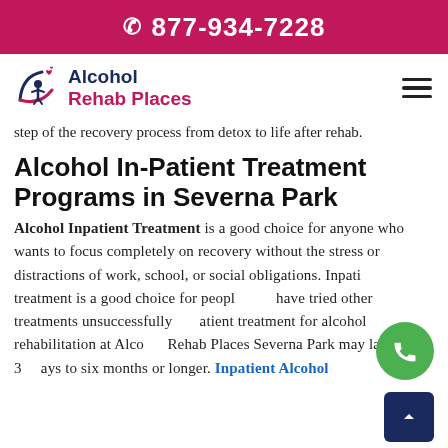877-934-7228
[Figure (logo): Alcohol Rehab Places logo with stylized person and hearts in navy and pink]
step of the recovery process from detox to life after rehab.
Alcohol In-Patient Treatment Programs in Severna Park
Alcohol Inpatient Treatment is a good choice for anyone who wants to focus completely on recovery without the stress or distractions of work, school, or social obligations. Inpatient treatment is a good choice for people who have tried other treatments unsuccessfully. Inpatient treatment for alcohol rehabilitation at Alcohol Rehab Places Severna Park may last from 30 days to six months or longer. Inpatient Alcohol